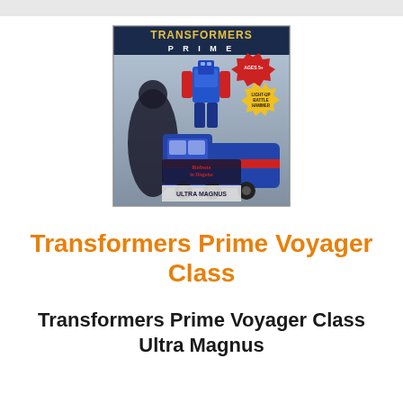[Figure (photo): Product photo of Transformers Prime Voyager Class Ultra Magnus toy in box. The box shows 'TRANSFORMERS PRIME' branding at the top, features 'Robots in Disguise' and 'Ultra Magnus Autobot' text, along with a blue robot figure and a semi-truck vehicle, plus a smaller figure. Includes 'Light-Up Battle Hammer' callout in yellow starburst.]
Transformers Prime Voyager Class
Transformers Prime Voyager Class Ultra Magnus